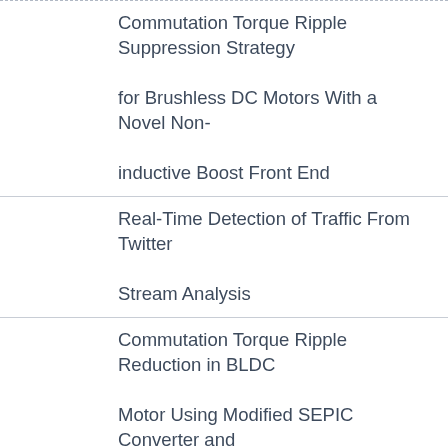Commutation Torque Ripple Suppression Strategy for Brushless DC Motors With a Novel Non-inductive Boost Front End
Real-Time Detection of Traffic From Twitter Stream Analysis
Commutation Torque Ripple Reduction in BLDC Motor Using Modified SEPIC Converter and Three-level NPC Inverter
Improving Web Navigation Usability by Comparing Actual and Anticipated Usage
Network-Based Modeling and Intelligent Data